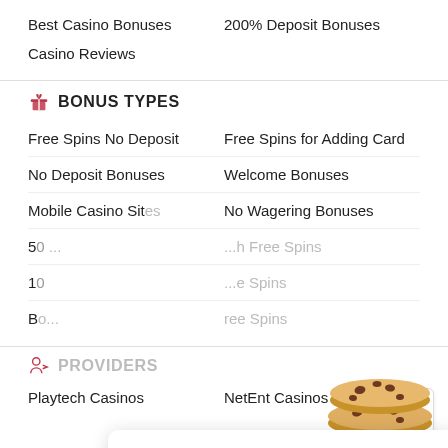Best Casino Bonuses
200% Deposit Bonuses
Casino Reviews
BONUS TYPES
Free Spins No Deposit
Free Spins for Adding Card
No Deposit Bonuses
Welcome Bonuses
Mobile Casino Sites
No Wagering Bonuses
50...
...Free Spins
10...
...e Spins
Bo...
...ree Spins
[Figure (illustration): Cookie icon - stack of chocolate chip cookies]
We use cookies to improve the user experience. By using our services, you agree to our use of cookies.
Privacy Policy
Ok
PROVIDERS
Playtech Casinos
NetEnt Casinos